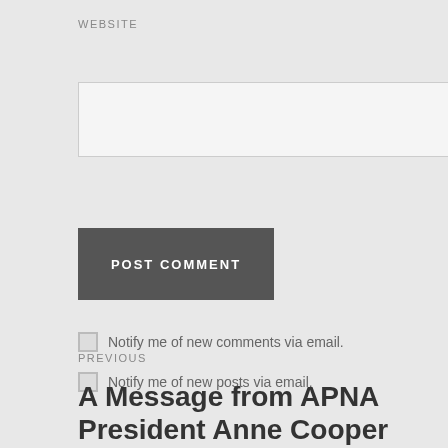WEBSITE
[Figure (other): Empty text input field for website URL]
POST COMMENT
Notify me of new comments via email.
Notify me of new posts via email.
PREVIOUS
A Message from APNA President Anne Cooper